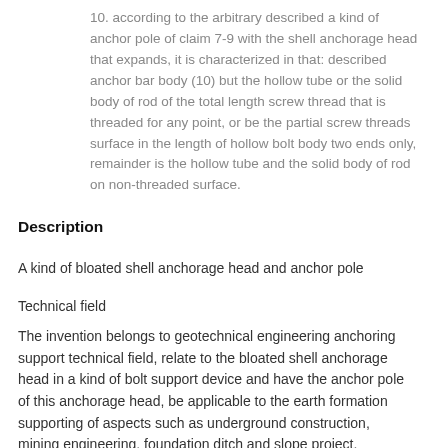10. according to the arbitrary described a kind of anchor pole of claim 7-9 with the shell anchorage head that expands, it is characterized in that: described anchor bar body (10) but the hollow tube or the solid body of rod of the total length screw thread that is threaded for any point, or be the partial screw threads surface in the length of hollow bolt body two ends only, remainder is the hollow tube and the solid body of rod on non-threaded surface.
Description
A kind of bloated shell anchorage head and anchor pole
Technical field
The invention belongs to geotechnical engineering anchoring support technical field, relate to the bloated shell anchorage head in a kind of bolt support device and have the anchor pole of this anchorage head, be applicable to the earth formation supporting of aspects such as underground construction, mining engineering, foundation ditch and slope project.